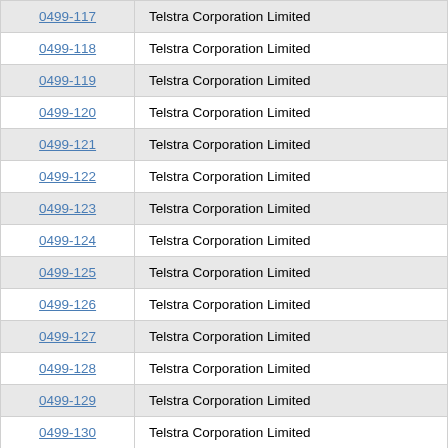| Code | Organisation |
| --- | --- |
| 0499-117 | Telstra Corporation Limited |
| 0499-118 | Telstra Corporation Limited |
| 0499-119 | Telstra Corporation Limited |
| 0499-120 | Telstra Corporation Limited |
| 0499-121 | Telstra Corporation Limited |
| 0499-122 | Telstra Corporation Limited |
| 0499-123 | Telstra Corporation Limited |
| 0499-124 | Telstra Corporation Limited |
| 0499-125 | Telstra Corporation Limited |
| 0499-126 | Telstra Corporation Limited |
| 0499-127 | Telstra Corporation Limited |
| 0499-128 | Telstra Corporation Limited |
| 0499-129 | Telstra Corporation Limited |
| 0499-130 | Telstra Corporation Limited |
| 0499-131 | Telstra Corporation Limited |
| 0499-132 | Telstra Corporation Limited |
| 0499-133 | Telstra Corporation Limited |